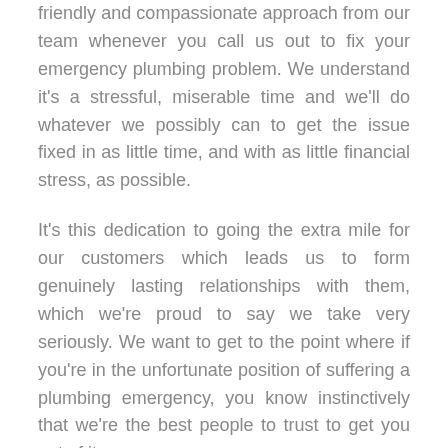friendly and compassionate approach from our team whenever you call us out to fix your emergency plumbing problem. We understand it's a stressful, miserable time and we'll do whatever we possibly can to get the issue fixed in as little time, and with as little financial stress, as possible.
It's this dedication to going the extra mile for our customers which leads us to form genuinely lasting relationships with them, which we're proud to say we take very seriously. We want to get to the point where if you're in the unfortunate position of suffering a plumbing emergency, you know instinctively that we're the best people to trust to get you out of it.
For any emergency plumbing throughout East Finchley, ours is the only number you need.